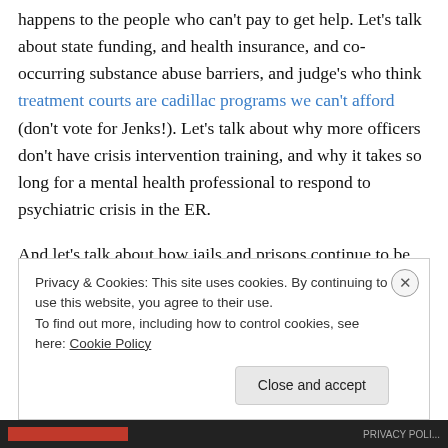happens to the people who can't pay to get help. Let's talk about state funding, and health insurance, and co-occurring substance abuse barriers, and judge's who think treatment courts are cadillac programs we can't afford (don't vote for Jenks!). Let's talk about why more officers don't have crisis intervention training, and why it takes so long for a mental health professional to respond to psychiatric crisis in the ER.
And let's talk about how jails and prisons continue to be warehouses for people with mental illness.
Privacy & Cookies: This site uses cookies. By continuing to use this website, you agree to their use. To find out more, including how to control cookies, see here: Cookie Policy